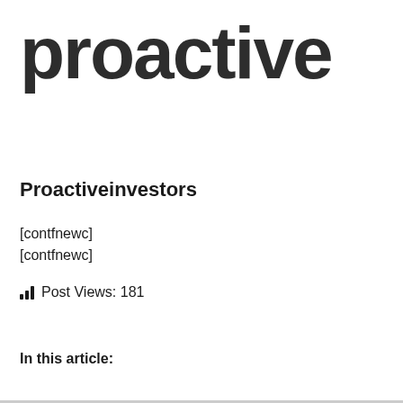[Figure (logo): Proactive logo — the word 'proactive' in large bold dark sans-serif lowercase text]
Proactiveinvestors
[contfnewc]
[contfnewc]
Post Views: 181
In this article: